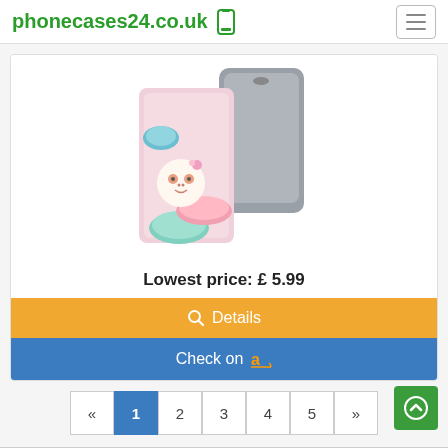phonecases24.co.uk
[Figure (photo): Phone case product image showing a decorative wallet-style phone case with cute cartoon characters on a pink background, alongside a gray phone]
Lowest price: £ 5.99
Details
Check on Amazon
« 1 2 3 4 5 »